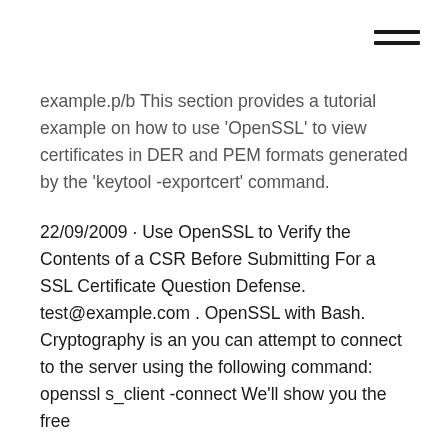[Figure (other): Hamburger menu icon (three horizontal lines) in top right corner]
example.p/b This section provides a tutorial example on how to use 'OpenSSL' to view certificates in DER and PEM formats generated by the 'keytool -exportcert' command.
22/09/2009 · Use OpenSSL to Verify the Contents of a CSR Before Submitting For a SSL Certificate Question Defense. test@example.com . OpenSSL with Bash. Cryptography is an you can attempt to connect to the server using the following command: openssl s_client -connect We'll show you the free
Ubuntu: Creating a self-signed SAN certificate